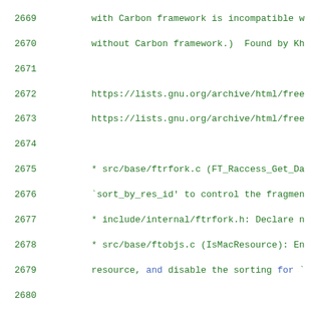Source code changelog listing, lines 2669–2690, showing git log entries for FreeType project